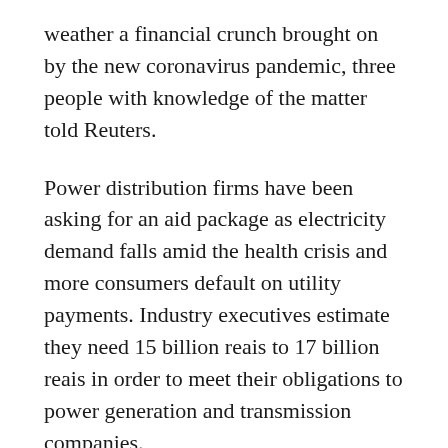weather a financial crunch brought on by the new coronavirus pandemic, three people with knowledge of the matter told Reuters.
Power distribution firms have been asking for an aid package as electricity demand falls amid the health crisis and more consumers default on utility payments. Industry executives estimate they need 15 billion reais to 17 billion reais in order to meet their obligations to power generation and transmission companies.
The government has acknowledged talks about aid for the sector with state banks BNDES, Banco do Brasil SA and Caixa Economica Federal as well as private banks